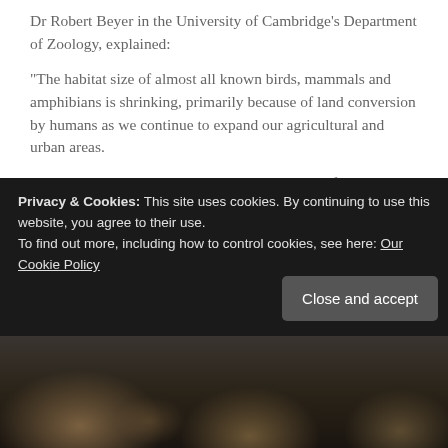Dr Robert Beyer in the University of Cambridge's Department of Zoology, explained:
“The habitat size of almost all known birds, mammals and amphibians is shrinking, primarily because of land conversion by humans as we continue to expand our agricultural and urban areas.
“The tropics are biodiversity hotspots with lots of small-range species. If one hectare of tropical forest is converted to agricultural land, a lot more species lose larger proportions of their home than in places like Europe.”
Some species are more heavily impacted than others. A worrying 16% of species have lost over half their estimated natural historical range, a figure that could rise to 26% by the end of the
Privacy & Cookies: This site uses cookies. By continuing to use this website, you agree to their use.
To find out more, including how to control cookies, see here: Our Cookie Policy
Close and accept
[Figure (photo): Partial view of wildlife photo at the bottom of the page, showing animals (likely mammals) in a dark, natural setting.]